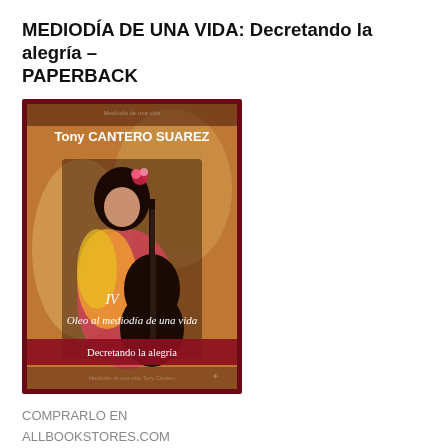MEDIODÍA DE UNA VIDA: Decretando la alegría – PAPERBACK
[Figure (illustration): Book cover of 'Mediodía de una vida: Decretando la alegría' by Tony Cantero Suarez. Shows a woman in flamenco-style colorful dress playing an acoustic guitar against an abstract painted background. Text on cover: 'Tony CANTERO SUAREZ', 'IV', 'Oleo al mediodía de una vida', 'Decretando la alegría'. Dark red/maroon border frame.]
COMPRARLO EN
ALLBOOKSTORES.COM